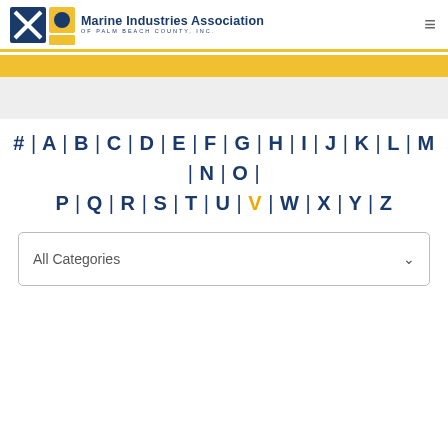Marine Industries Association of Palm Beach County, Inc.
# | A | B | C | D | E | F | G | H | I | J | K | L | M | N | O | P | Q | R | S | T | U | V | W | X | Y | Z
All Categories